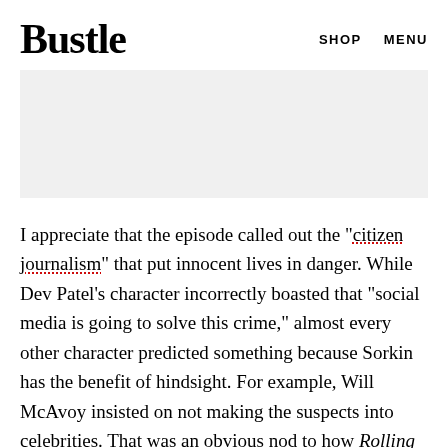Bustle   SHOP   MENU
[Figure (other): Gray advertisement placeholder rectangle]
I appreciate that the episode called out the "citizen journalism" that put innocent lives in danger. While Dev Patel's character incorrectly boasted that "social media is going to solve this crime," almost every other character predicted something because Sorkin has the benefit of hindsight. For example, Will McAvoy insisted on not making the suspects into celebrities. That was an obvious nod to how Rolling Stone put